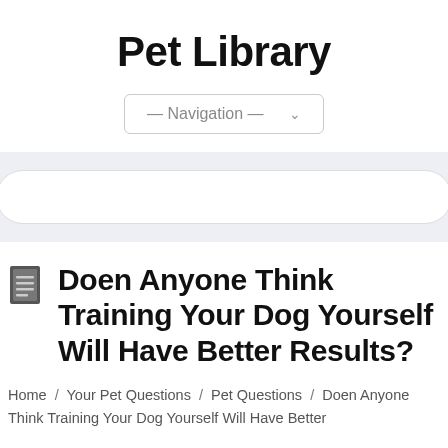Pet Library
[Figure (other): Navigation dropdown selector showing '— Navigation —' with a chevron arrow]
[Figure (other): Search bar with rounded pill shape on a light purple/lavender background]
Doen Anyone Think Training Your Dog Yourself Will Have Better Results?
Home / Your Pet Questions / Pet Questions / Doen Anyone Think Training Your Dog Yourself Will Have Better